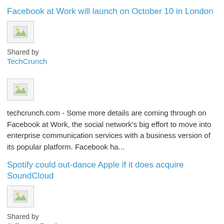Facebook at Work will launch on October 10 in London
[Figure (illustration): Small image placeholder thumbnail]
Shared by
TechCrunch
[Figure (illustration): Small image placeholder thumbnail]
techcrunch.com - Some more details are coming through on Facebook at Work, the social network's big effort to move into enterprise communication services with a business version of its popular platform. Facebook ha...
Spotify could out-dance Apple if it does acquire SoundCloud
[Figure (illustration): Small image placeholder thumbnail]
Shared by
Jefferson Faudan